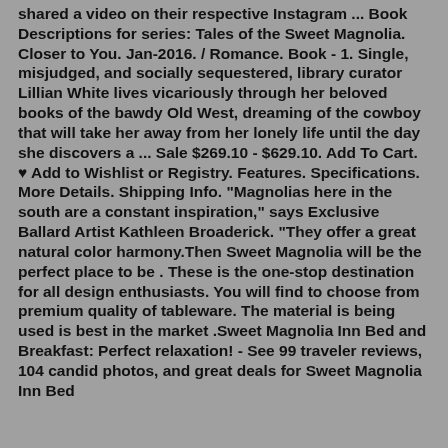shared a video on their respective Instagram ... Book Descriptions for series: Tales of the Sweet Magnolia. Closer to You. Jan-2016. / Romance. Book - 1. Single, misjudged, and socially sequestered, library curator Lillian White lives vicariously through her beloved books of the bawdy Old West, dreaming of the cowboy that will take her away from her lonely life until the day she discovers a ... Sale $269.10 - $629.10. Add To Cart. ♥ Add to Wishlist or Registry. Features. Specifications. More Details. Shipping Info. "Magnolias here in the south are a constant inspiration," says Exclusive Ballard Artist Kathleen Broaderick. "They offer a great natural color harmony.Then Sweet Magnolia will be the perfect place to be . These is the one-stop destination for all design enthusiasts. You will find to choose from premium quality of tableware. The material is being used is best in the market .Sweet Magnolia Inn Bed and Breakfast: Perfect relaxation! - See 99 traveler reviews, 104 candid photos, and great deals for Sweet Magnolia Inn Bed and Breakfast at TripAdvisor.